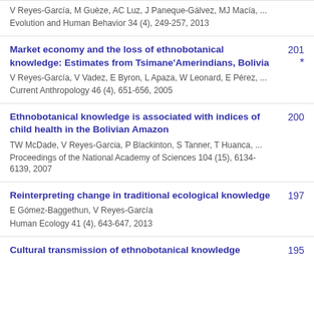V Reyes-García, M Guèze, AC Luz, J Paneque-Gálvez, MJ Macía, ...
Evolution and Human Behavior 34 (4), 249-257, 2013
Market economy and the loss of ethnobotanical knowledge: Estimates from Tsimane'Amerindians, Bolivia
V Reyes-García, V Vadez, E Byron, L Apaza, W Leonard, E Pérez, ...
Current Anthropology 46 (4), 651-656, 2005
201 *
Ethnobotanical knowledge is associated with indices of child health in the Bolivian Amazon
TW McDade, V Reyes-Garcia, P Blackinton, S Tanner, T Huanca, ...
Proceedings of the National Academy of Sciences 104 (15), 6134-6139, 2007
200
Reinterpreting change in traditional ecological knowledge
E Gómez-Baggethun, V Reyes-García
Human Ecology 41 (4), 643-647, 2013
197
Cultural transmission of ethnobotanical knowledge
195